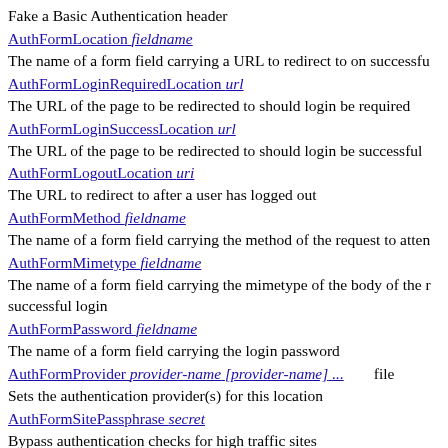Fake a Basic Authentication header
AuthFormLocation fieldname
The name of a form field carrying a URL to redirect to on successful
AuthFormLoginRequiredLocation url
The URL of the page to be redirected to should login be required
AuthFormLoginSuccessLocation url
The URL of the page to be redirected to should login be successful
AuthFormLogoutLocation uri
The URL to redirect to after a user has logged out
AuthFormMethod fieldname
The name of a form field carrying the method of the request to attem
AuthFormMimetype fieldname
The name of a form field carrying the mimetype of the body of the r successful login
AuthFormPassword fieldname
The name of a form field carrying the login password
AuthFormProvider provider-name [provider-name] ...    file
Sets the authentication provider(s) for this location
AuthFormSitePassphrase secret
Bypass authentication checks for high traffic sites
AuthFormSize size